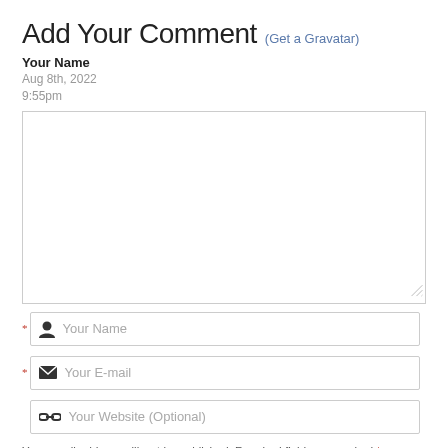Add Your Comment (Get a Gravatar)
Your Name
Aug 8th, 2022
9:55pm
[Figure (other): Large blank comment text input area with border]
[Figure (other): Form input field with person icon and placeholder 'Your Name', required field marked with red asterisk]
[Figure (other): Form input field with email icon and placeholder 'Your E-mail', required field marked with red asterisk]
[Figure (other): Form input field with link icon and placeholder 'Your Website (Optional)']
Your email address will not be published. Required fields are marked *.